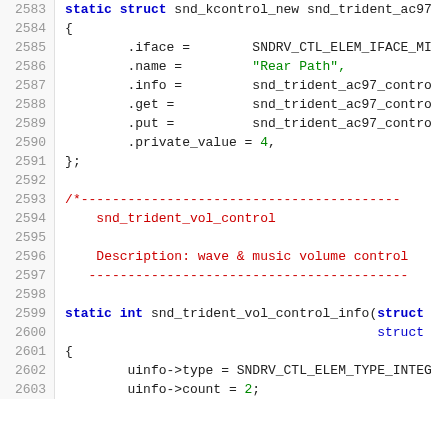[Figure (screenshot): Source code listing showing C code lines 2583-2603. The code defines a static struct snd_kcontrol_new with fields iface, name (Rear Path), info, get, put, private_value=4, followed by a comment block describing snd_trident_vol_control for wave & music volume control, and then a static int snd_trident_vol_control_info function with uinfo->type and uinfo->count=2.]